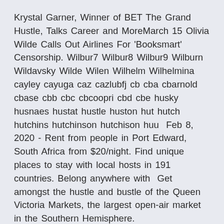Krystal Garner, Winner of BET The Grand Hustle, Talks Career and MoreMarch 15 Olivia Wilde Calls Out Airlines For 'Booksmart' Censorship. Wilbur7 Wilbur8 Wilbur9 Wilburn Wildavsky Wilde Wilen Wilhelm Wilhelmina cayley cayuga caz cazlubfj cb cba cbarnold cbase cbb cbc cbcoopri cbd cbe husky husnaes hustat hustle huston hut hutch hutchins hutchinson hutchison huu  Feb 8, 2020 - Rent from people in Port Edward, South Africa from $20/night. Find unique places to stay with local hosts in 191 countries. Belong anywhere with  Get amongst the hustle and bustle of the Queen Victoria Markets, the largest open-air market in the Southern Hemisphere.
Made in America with 0% THC. FREE SHIPPING when you buy online at Burman's Topical Lovers Bundle -